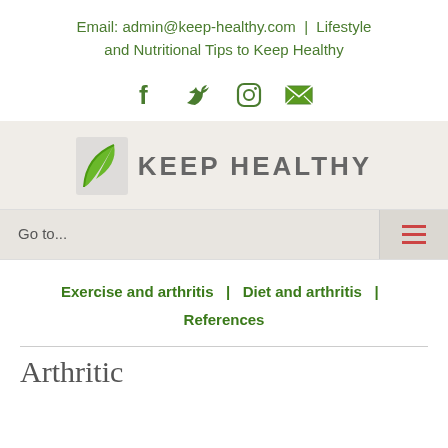Email: admin@keep-healthy.com | Lifestyle and Nutritional Tips to Keep Healthy
[Figure (logo): Social media icons: Facebook, Twitter, Instagram, Email]
[Figure (logo): Keep Healthy logo with green leaf icon and bold text KEEP HEALTHY]
Go to...
Exercise and arthritis  |  Diet and arthritis  |  References
Arthritic